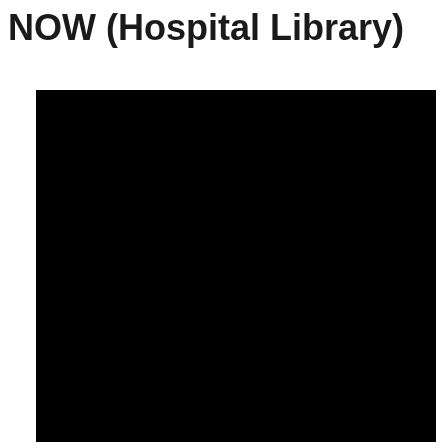NOW (Hospital Library)
[Figure (photo): A large black rectangular image, likely a photograph that is too dark or underexposed to show any visible detail.]